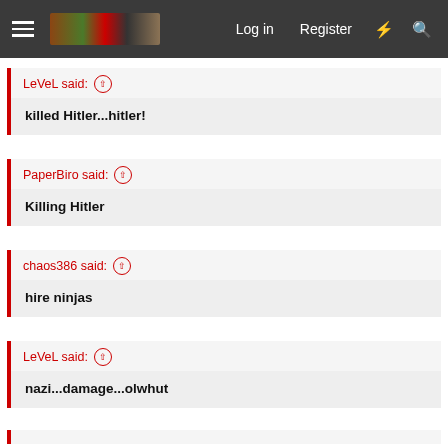Log in   Register
LeVeL said: ↑
killed Hitler...hitler!
PaperBiro said: ↑
Killing Hitler
chaos386 said: ↑
hire ninjas
LeVeL said: ↑
nazi...damage...olwhut